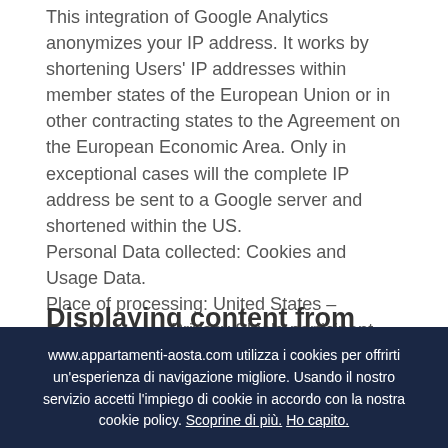This integration of Google Analytics anonymizes your IP address. It works by shortening Users' IP addresses within member states of the European Union or in other contracting states to the Agreement on the European Economic Area. Only in exceptional cases will the complete IP address be sent to a Google server and shortened within the US. Personal Data collected: Cookies and Usage Data. Place of processing: United States – – . Privacy Shield participant.
Displaying content from
www.appartamenti-aosta.com utilizza i cookies per offrirti un'esperienza di navigazione migliore. Usando il nostro servizio accetti l'impiego di cookie in accordo con la nostra cookie policy. Scoprine di più. Ho capito.